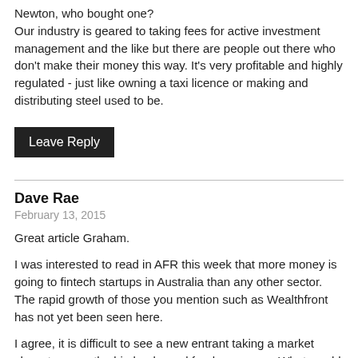Newton, who bought one?
Our industry is geared to taking fees for active investment management and the like but there are people out there who don't make their money this way. It's very profitable and highly regulated - just like owning a taxi licence or making and distributing steel used to be.
Leave Reply
Dave Rae
February 13, 2015
Great article Graham.
I was interested to read in AFR this week that more money is going to fintech startups in Australia than any other sector. The rapid growth of those you mention such as Wealthfront has not yet been seen here.
I agree, it is difficult to see a new entrant taking a market share to worry the big banks and fund managers. What would be concerning however could be a major disruption to pricing.